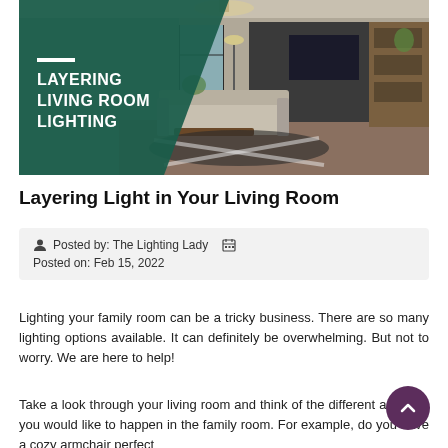[Figure (photo): Hero image of a modern living room with pendant ceiling light, large windows, TV wall unit, and stylish furniture. Dark teal triangular overlay on left side with text 'LAYERING LIVING ROOM LIGHTING' in white bold uppercase letters and a short white horizontal rule above.]
Layering Light in Your Living Room
Posted by: The Lighting Lady  Posted on: Feb 15, 2022
Lighting your family room can be a tricky business. There are so many lighting options available. It can definitely be overwhelming. But not to worry. We are here to help!
Take a look through your living room and think of the different activities you would like to happen in the family room. For example, do you have a cozy armchair perfect